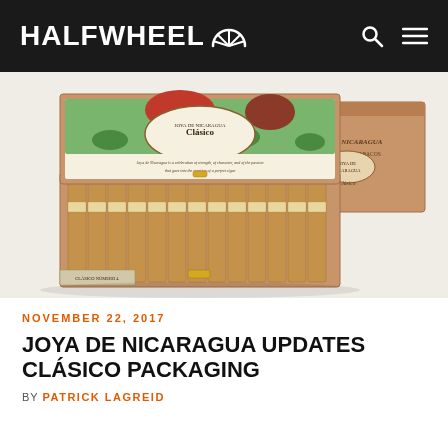HALFWHEEL
[Figure (photo): Open wooden cigar box showing Joya de Nicaragua Clásico cigars with updated packaging, lid open revealing colorful label artwork with two farmers in a tobacco field. A second closed box is visible behind it.]
NOVEMBER 22, 2017
JOYA DE NICARAGUA UPDATES CLÁSICO PACKAGING
by PATRICK LAGREID